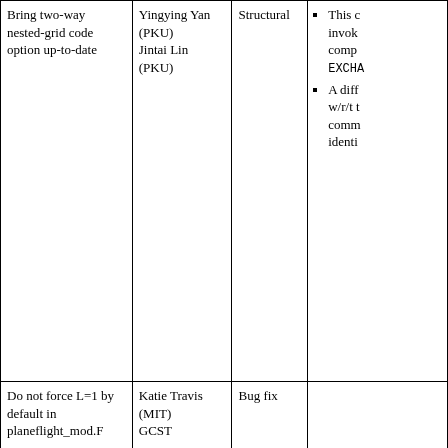| Description | Contributor | Type | Notes |
| --- | --- | --- | --- |
| Bring two-way nested-grid code option up-to-date | Yingying Yan (PKU)
Jintai Lin (PKU) | Structural | This code invokes compiler EXCHA...
A diff w/r/t the comm... identi... |
| Do not force L=1 by default in planeflight_mod.F | Katie Travis (MIT)
GCST | Bug fix |  |
| Add PH2O2 to the default list of prod/loss families in the KPP mechanisms | GCST | Structural | This u... facilit... out ox... from a... chemi... simul... can be... drive ... only s... |